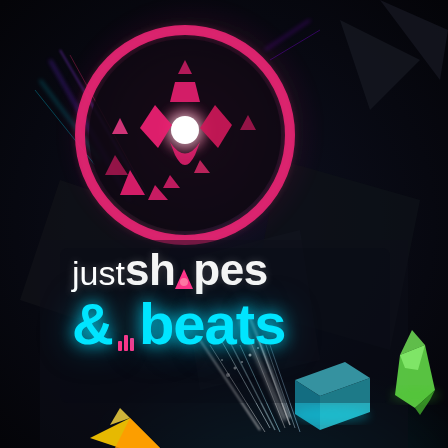[Figure (illustration): Just Shapes & Beats game cover art. Dark near-black background with geometric polygon shapes. Top half: large magenta/pink neon circle with a pink angular character shape inside glowing white in center, surrounded by pink triangles and purple/teal light streaks. Middle: dark gray diamond/polygon shapes. Center-lower: game logo text 'just shapes & beats' with 'just' in white regular weight, 'shapes' in white bold with a pink triangle replacing the 'a', '&beats' in bright cyan/teal bold with small bar-chart equalizer icon. Bottom: colorful 3D geometric gem/crystal shapes — cyan cube, green crystal, yellow/orange shape — with white light rays emanating upward.]